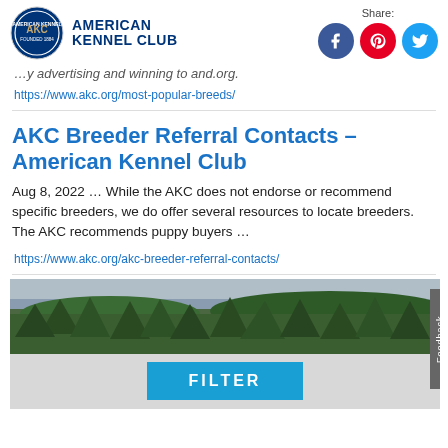American Kennel Club — Share: [Facebook] [Pinterest] [Twitter]
…y advertising and winning to and.org.
https://www.akc.org/most-popular-breeds/
AKC Breeder Referral Contacts – American Kennel Club
Aug 8, 2022 … While the AKC does not endorse or recommend specific breeders, we do offer several resources to locate breeders. The AKC recommends puppy buyers …
https://www.akc.org/akc-breeder-referral-contacts/
[Figure (photo): Forest landscape with green trees and cloudy sky, followed by a light grey area with a blue FILTER button]
FILTER